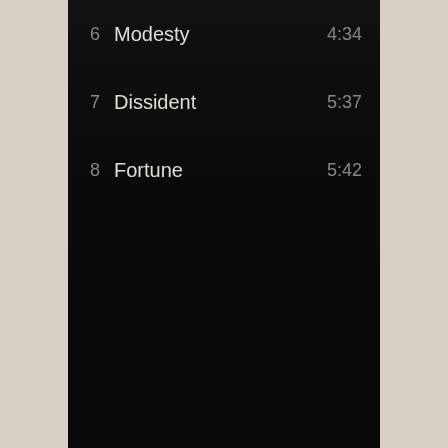6  Modesty  4:34
7  Dissident  5:37
8  Fortune  5:42